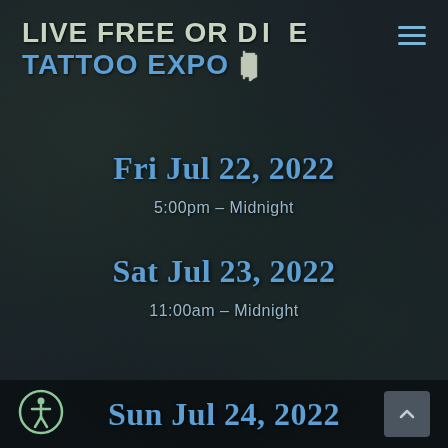LIVE FREE OR DIE TATTOO EXPO
Fri Jul 22, 2022
5:00pm – Midnight
Sat Jul 23, 2022
11:00am – Midnight
Sun Jul 24, 2022